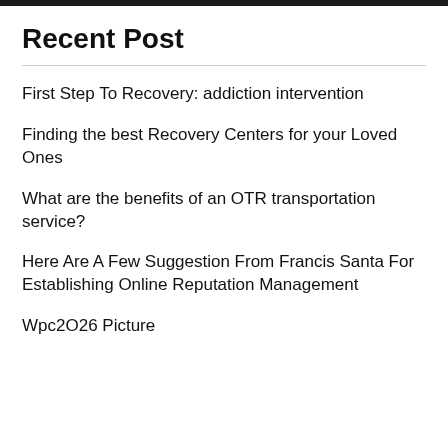Recent Post
First Step To Recovery: addiction intervention
Finding the best Recovery Centers for your Loved Ones
What are the benefits of an OTR transportation service?
Here Are A Few Suggestion From Francis Santa For Establishing Online Reputation Management
Wpc2O26 Picture